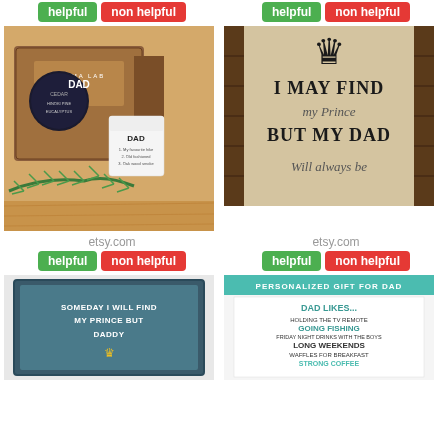[Figure (photo): Green helpful button and red non helpful button at top left]
[Figure (photo): Green helpful button and red non helpful button at top right]
[Figure (photo): Product photo of DAD candles from Aroma Lab in box with pine branch]
[Figure (photo): Text art print on burlap: I may find my Prince But My Dad Will always be, with crown illustration]
etsy.com
etsy.com
[Figure (other): helpful and non helpful buttons below left product]
[Figure (other): helpful and non helpful buttons below right product]
[Figure (photo): Framed print: Someday I will find my prince but Daddy]
[Figure (photo): Personalized gift for Dad with teal header: Dad Likes... holding the tv remote, Going Fishing, Friday night drinks with the boys, Long Weekends, Waffles for Breakfast, Strong Coffee]